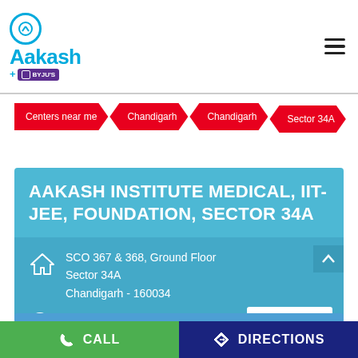[Figure (logo): Aakash + BYJU'S logo with circular icon]
Centers near me > Chandigarh > Chandigarh > Sector 34A
AAKASH INSTITUTE MEDICAL, IIT-JEE, FOUNDATION, SECTOR 34A
SCO 367 & 368, Ground Floor
Sector 34A
Chandigarh - 160034
Open until 07:00 PM    OPEN NOW
Outstanding Performance by Aakashians in...
CALL
DIRECTIONS